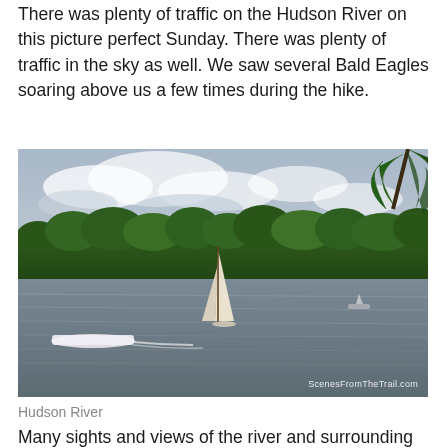There was plenty of traffic on the Hudson River on this picture perfect Sunday. There was plenty of traffic in the sky as well. We saw several Bald Eagles soaring above us a few times during the hike.
[Figure (photo): Photo of the Hudson River showing a sailboat with white sails in the middle, a motorboat on the left, forested shoreline in the background, cloudy sky, and pine tree branches visible in the upper right corner. Watermark reads ScenesFromTheTrail.com]
Hudson River
Many sights and views of the river and surrounding